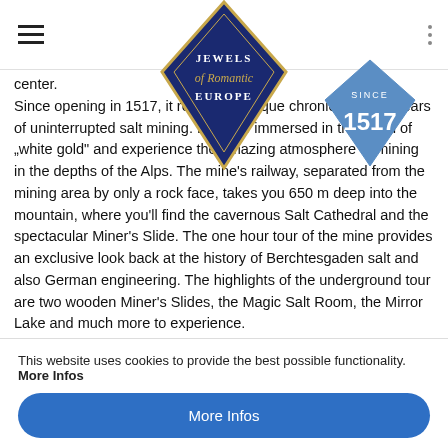[Figure (logo): Jewels of Romantic Europe diamond logo with navy background and gold border]
[Figure (logo): Since 1517 diamond badge in blue]
center. Since opening in 1517, it records a unique chronicle of 500 years of uninterrupted salt mining. Become immersed in the world of „white gold“ and experience the amazing atmosphere of mining in the depths of the Alps. The mine’s railway, separated from the mining area by only a rock face, takes you 650 m deep into the mountain, where you’ll find the cavernous Salt Cathedral and the spectacular Miner’s Slide. The one hour tour of the mine provides an exclusive look back at the history of Berchtesgaden salt and also German engineering. The highlights of the underground tour are two wooden Miner’s Slides, the Magic Salt Room, the Mirror Lake and much more to experience. After the guided underground tour do not miss to visit our salt and souvenir shop. Take a look at the world of Bad Reichenhaller...
This website uses cookies to provide the best possible functionality. More Infos
More Infos